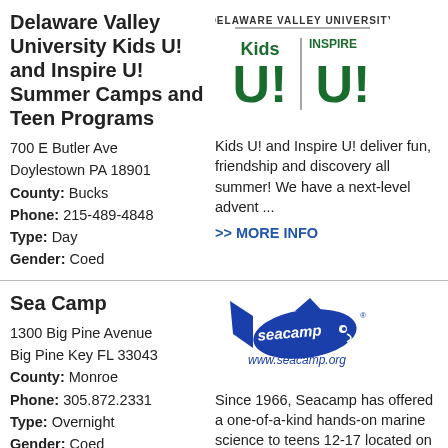Delaware Valley University Kids U! and Inspire U! Summer Camps and Teen Programs
700 E Butler Ave
Doylestown PA 18901
County: Bucks
Phone: 215-489-4848
Type: Day
Gender: Coed
[Figure (logo): Delaware Valley University Kids U! and Inspire U! logo with green block letters]
Kids U! and Inspire U! deliver fun, friendship and discovery all summer! We have a next-level advent ...
>> MORE INFO
Sea Camp
1300 Big Pine Avenue
Big Pine Key FL 33043
County: Monroe
Phone: 305.872.2331
Type: Overnight
Gender: Coed
[Figure (logo): Sea Camp logo with blue shark/fish shape and www.seacamp.org text]
Since 1966, Seacamp has offered a one-of-a-kind hands-on marine science to teens 12-17 located on Bi ...
>> MORE INFO